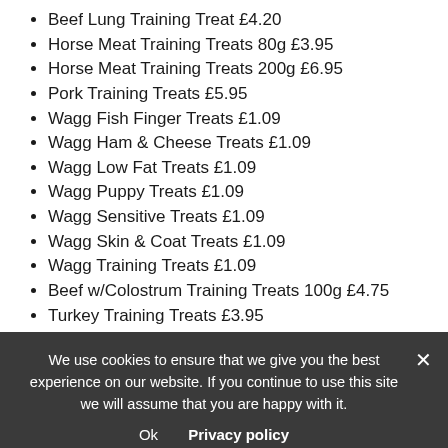Beef Lung Training Treat £4.20
Horse Meat Training Treats 80g £3.95
Horse Meat Training Treats 200g £6.95
Pork Training Treats £5.95
Wagg Fish Finger Treats £1.09
Wagg Ham & Cheese Treats £1.09
Wagg Low Fat Treats £1.09
Wagg Puppy Treats £1.09
Wagg Sensitive Treats £1.09
Wagg Skin & Coat Treats £1.09
Wagg Training Treats £1.09
Beef w/Colostrum Training Treats 100g £4.75
Turkey Training Treats £3.95
Other treats available
Charcoal Bones £2.50 per bag
Gravy Bones £2.95
Peanut Butter £5.95
We use cookies to ensure that we give you the best experience on our website. If you continue to use this site we will assume that you are happy with it.